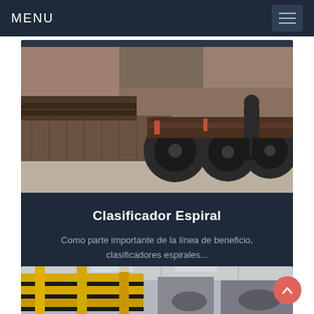MENU
[Figure (photo): Industrial scene showing heavy trucks with large tires parked in a warehouse/yard area. A person in a dark coat stands near the trucks. Large wooden crates and industrial equipment visible in the foreground.]
Clasificador Espiral
Como parte importante de la línea de beneficio, clasificadores espirales...
[Figure (photo): Industrial conveyor belt equipment with yellow metal frame structures in a large factory/warehouse setting.]